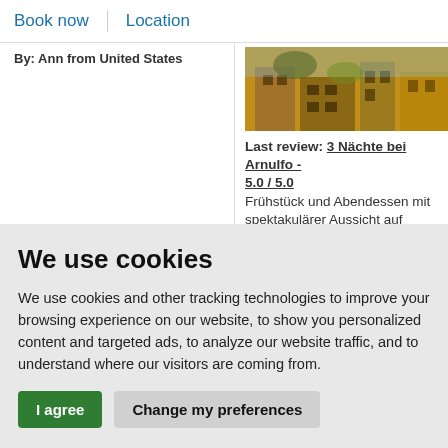Book now | Location
By: Ann from United States
[Figure (photo): Photo of a building exterior in warm yellow/orange tones, likely in Santiago]
Last review: 3 Nächte bei Arnulfo - 5.0 / 5.0
Frühstück und Abendessen mit spektakulärer Aussicht auf Santiago. Das schlichte Zimmer.
We use cookies
We use cookies and other tracking technologies to improve your browsing experience on our website, to show you personalized content and targeted ads, to analyze our website traffic, and to understand where our visitors are coming from.
I agree   Change my preferences